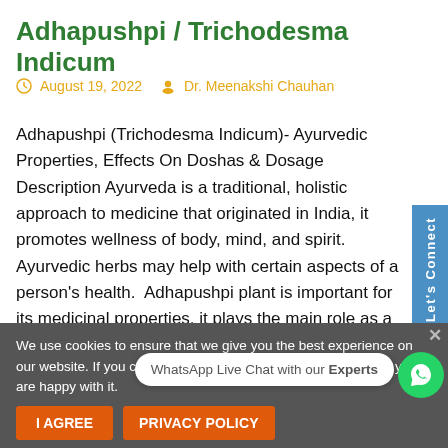Adhapushpi / Trichodesma Indicum
August 19, 2022   Dr. Meenakshi Chauhan
Adhapushpi (Trichodesma Indicum)- Ayurvedic Properties, Effects On Doshas & Dosage Description Ayurveda is a traditional, holistic approach to medicine that originated in India, it promotes wellness of body, mind, and spirit. Ayurvedic herbs may help with certain aspects of a person's health. Adhapushpi plant is important for its medicinal properties, it plays the main role as a special ingredient in several medicines. This plant is widely used in ayurvedic and homoeopathic medicines, this herb effectively provides benefits such
We use cookies to ensure that we give you the best experience on our website. If you continue to use this site we will assume that you are happy with it.
I AGREE   PRIVACY POLICY   WhatsApp Live Chat with our Experts